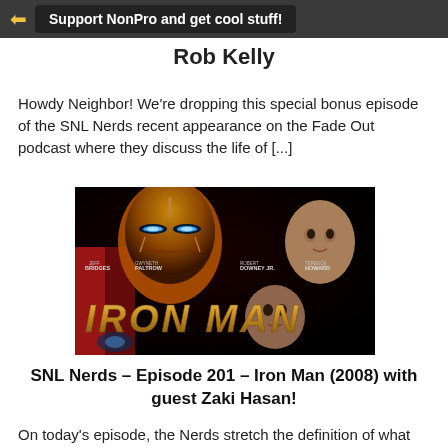Support NonPro and get cool stuff!
Rob Kelly
Howdy Neighbor! We're dropping this special bonus episode of the SNL Nerds recent appearance on the Fade Out podcast where they discuss the life of [...]
[Figure (photo): Iron Man (2008) movie poster showing Iron Man helmet and cast including Robert Downey Jr., Terence Howard, Jeff Bridges, and Gwyneth Paltrow with large IRON MAN text]
SNL Nerds – Episode 201 – Iron Man (2008) with guest Zaki Hasan!
On today's episode, the Nerds stretch the definition of what